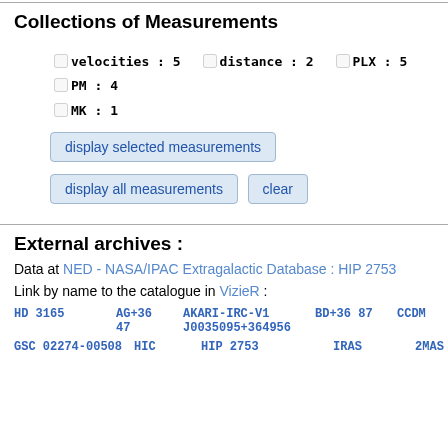Collections of Measurements
velocities : 5   distance : 2   PLX : 5   PM : 4   MK : 1
display selected measurements
display all measurements   clear
External archives :
Data at NED - NASA/IPAC Extragalactic Database : HIP 2753
Link by name to the catalogue in VizieR :
HD 3165   AG+36 47   AKARI-IRC-V1 J0035095+364956   BD+36 87   CCDM
GSC 02274-00508   HIC   HIP 2753   IRAS   2MAS